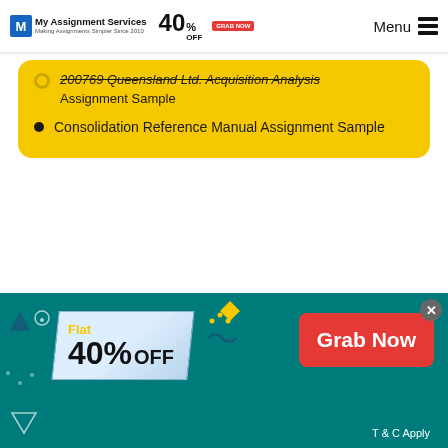My Assignment Services – 40% OFF – Menu
200769 Queensland Ltd. Acquisition Analysis Assignment Sample
Consolidation Reference Manual Assignment Sample
Our Experts can answer your Assignment questions instantly. Ask Question →
[Figure (infographic): Flat 40% OFF promotional banner with Grab Now button and T & C Apply text]